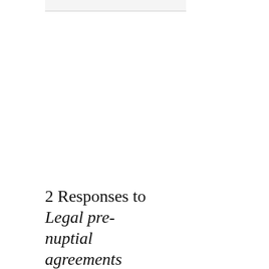2 Responses to Legal pre-nuptial agreements come too late for Nick Clegg